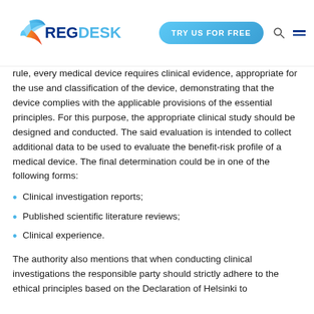[Figure (logo): RegDesk logo with bird illustration and text]
rule, every medical device requires clinical evidence, appropriate for the use and classification of the device, demonstrating that the device complies with the applicable provisions of the essential principles. For this purpose, the appropriate clinical study should be designed and conducted. The said evaluation is intended to collect additional data to be used to evaluate the benefit-risk profile of a medical device. The final determination could be in one of the following forms:
Clinical investigation reports;
Published scientific literature reviews;
Clinical experience.
The authority also mentions that when conducting clinical investigations the responsible party should strictly adhere to the ethical principles based on the Declaration of Helsinki to